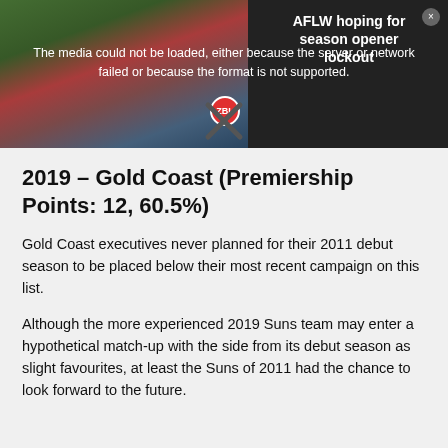[Figure (photo): Sports photo showing a group of female AFL players sitting together on a field, partially obscured by a media error overlay. Overlay text reads: 'The media could not be loaded, either because the server or network failed or because the format is not supported.' A sidebar shows 'AFLW hoping for season opener lockout'. An X dismiss button is visible.]
2019 – Gold Coast (Premiership Points: 12, 60.5%)
Gold Coast executives never planned for their 2011 debut season to be placed below their most recent campaign on this list.
Although the more experienced 2019 Suns team may enter a hypothetical match-up with the side from its debut season as slight favourites, at least the Suns of 2011 had the chance to look forward to the future.